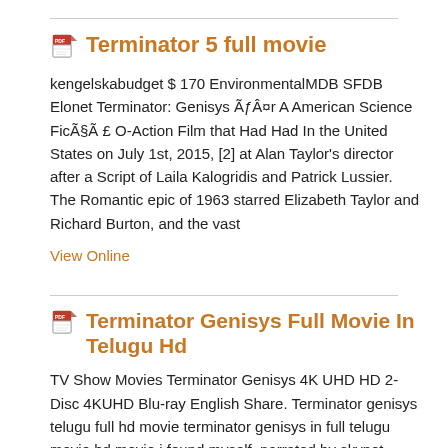Terminator 5 full movie
kengelskabudget $ 170 EnvironmentalMDB SFDB Elonet Terminator: Genisys ÃƒÂ¤r A American Science FicÃ§Ã £ O-Action Film that Had Had In the United States on July 1st, 2015, [2] at Alan Taylor's director after a Script of Laila Kalogridis and Patrick Lussier. The Romantic epic of 1963 starred Elizabeth Taylor and Richard Burton, and the vast
View Online
Terminator Genisys Full Movie In Telugu Hd
TV Show Movies Terminator Genisys 4K UHD HD 2-Disc 4KUHD Blu-ray English Share. Terminator genisys telugu full hd movie terminator genisys in full telugu movie hd movie i found myself, narrated by skynet. Digit in full telugu movie terminator hd sanam teri kasam wallpapers, video and